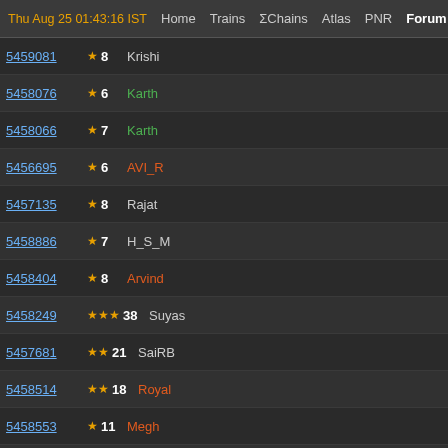Thu Aug 25 01:43:16 IST  Home  Trains  ΣChains  Atlas  PNR  Forum  Quiz R
| Post ID | Stars | Count | Author |
| --- | --- | --- | --- |
| 5459081 | ★ | 8 | Krishi |
| 5458076 | ★ | 6 | Karth |
| 5458066 | ★ | 7 | Karth |
| 5456695 | ★ | 6 | AVI_R |
| 5457135 | ★ | 8 | Rajat |
| 5458886 | ★ | 7 | H_S_M |
| 5458404 | ★ | 8 | Arvind |
| 5458249 | ★★★ | 38 | Suyas |
| 5457681 | ★★ | 21 | SaiRB |
| 5458514 | ★★ | 18 | Royal |
| 5458553 | ★ | 11 | Megh |
| 5458471 | ★★ | 20 | RohitB |
| 5458564 | ★★ | 17 | Saksh |
| 5454043 | ★★★ | 40 | Saksh |
| 5457297 | ★★ | 23 | SKMis |
| 5457792 | ★★ | 15 | Jumb |
| 5458772 | ★★★ | 27 | Prom |
| 5458688 | ★ | 10 | Vaibh |
| 5413180 | ★★ | 12 | venka |
| 4922820 | ★ | 8 | Risha |
| 5458810 | ★ | 6 | Nitesh |
| 5458786 | ★ | 8 | SaiRB |
| 5458711 | ★ | 7 | RailTh |